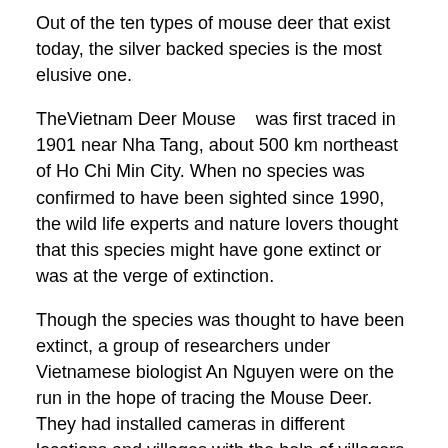Out of the ten types of mouse deer that exist today, the silver backed species is the most elusive one.
TheVietnam Deer Mouse   was first traced in 1901 near Nha Tang, about 500 km northeast of Ho Chi Min City. When no species was confirmed to have been sighted since 1990, the wild life experts and nature lovers thought that this species might have gone extinct or was at the verge of extinction.
Though the species was thought to have been extinct, a group of researchers under Vietnamese biologist An Nguyen were on the run in the hope of tracing the Mouse Deer. They had installed cameras in different locations and villages with the help of villagers. After years of waiting, one Vietnamese Mouse deer was caught n the camera, which has raised hopes that the animal has not gone extinct. Nguyen works with the Global Wildlife Conservation.